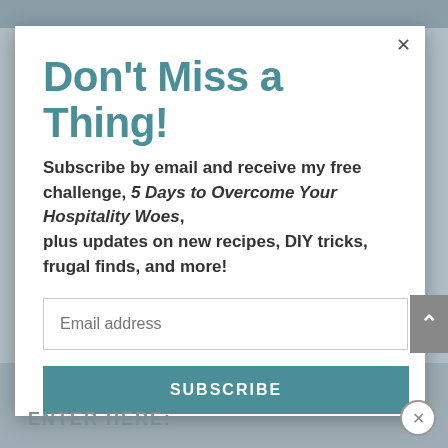Don't Miss a Thing!
Subscribe by email and receive my free challenge, 5 Days to Overcome Your Hospitality Woes, plus updates on new recipes, DIY tricks, frugal finds, and more!
Email address
SUBSCRIBE
ENTER HERE: